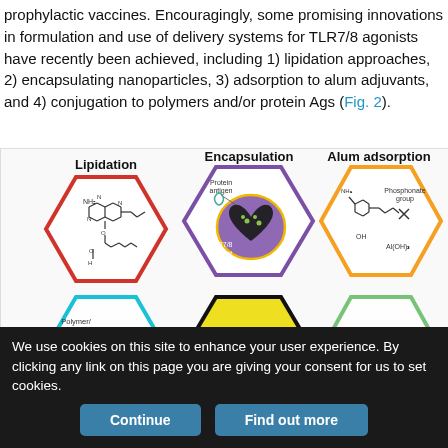prophylactic vaccines. Encouragingly, some promising innovations in formulation and use of delivery systems for TLR7/8 agonists have recently been achieved, including 1) lipidation approaches, 2) encapsulating nanoparticles, 3) adsorption to alum adjuvants, and 4) conjugation to polymers and/or protein Ags (Fig. 2).
[Figure (illustration): Scientific illustration showing formulation and delivery approaches for TLR7/8 agonists arranged as hexagonal cells. Top row: Lipidation (red hexagon, chemical structure with NH2 and lipid chain), Encapsulation (purple hexagon, nanoparticle with protein antigen and TLR7/8 agonist), Alum adsorption (orange hexagon, chemical structure with phosphonate group). Bottom partial row: Polymer/protein (blue hexagon, partial), TLR7/8 central yellow hexagon label, and a green hexagon (partial).]
We use cookies on this site to enhance your user experience. By clicking any link on this page you are giving your consent for us to set cookies.